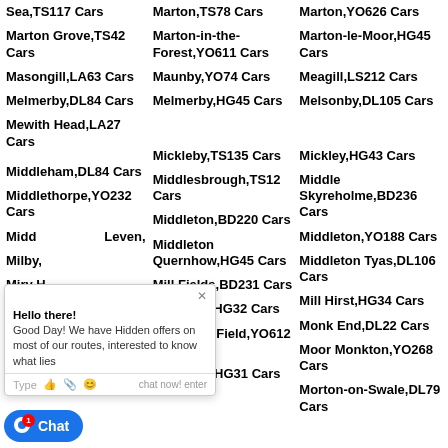Sea,TS117 Cars
Marton,TS78 Cars
Marton,YO626 Cars
Marton Grove,TS42 Cars
Marton-in-the-Forest,YO611 Cars
Marton-le-Moor,HG45 Cars
Masongill,LA63 Cars
Maunby,YO74 Cars
Meagill,LS212 Cars
Melmerby,DL84 Cars
Melmerby,HG45 Cars
Melsonby,DL105 Cars
Mewith Head,LA27 Cars
Mickleby,TS135 Cars
Mickley,HG43 Cars
Middleham,DL84 Cars
Middlesbrough,TS12 Cars
Middle Skyreholme,BD236 Cars
Middlethorpe,YO232 Cars
Middleton,BD220 Cars
Middleton,YO188 Cars
Middleton Leven,
Middleton Quernhow,HG45 Cars
Middleton Tyas,DL106 Cars
Milby,
Mill Fields,BD231 Cars
Mill Hirst,HG34 Cars
Miry H
Moke Hill,HG32 Cars
Monk End,DL22 Cars
Moor E
Moor End Field,YO612 Cars
Moor Monkton,YO268 Cars
Moorside,HG31 Cars
Morton-on-Swale,DL79 Cars
,TS123 Cars